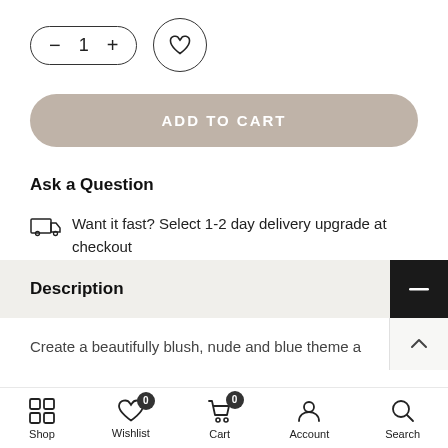[Figure (screenshot): Quantity selector with minus, 1, plus buttons in pill shape, and a heart/wishlist circle button]
[Figure (screenshot): Add to Cart button in taupe/beige rounded pill style]
Ask a Question
Want it fast? Select 1-2 day delivery upgrade at checkout
Description
Create a beautifully blush, nude and blue theme a
Shop   Wishlist 0   Cart 0   Account   Search